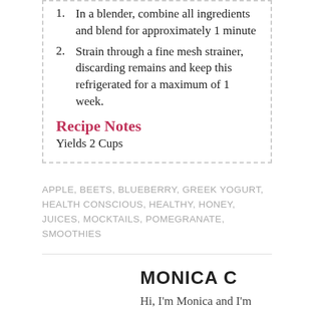1. In a blender, combine all ingredients and blend for approximately 1 minute
2. Strain through a fine mesh strainer, discarding remains and keep this refrigerated for a maximum of 1 week.
Recipe Notes
Yields 2 Cups
APPLE, BEETS, BLUEBERRY, GREEK YOGURT, HEALTH CONSCIOUS, HEALTHY, HONEY, JUICES, MOCKTAILS, POMEGRANATE, SMOOTHIES
MONICA C
Hi, I'm Monica and I'm your Fairy Barmother. At Liquid Culture, creativity is encouraged and